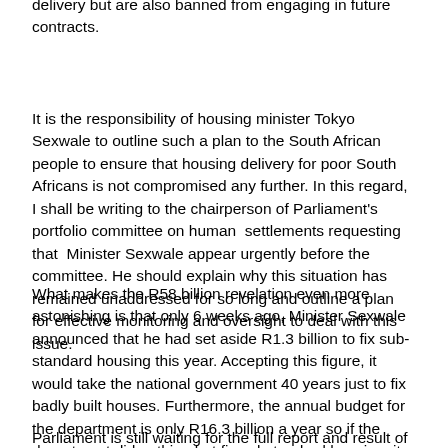delivery but are also banned from engaging in future contracts.
It is the responsibility of housing minister Tokyo Sexwale to outline such a plan to the South African people to ensure that housing delivery for poor South Africans is not compromised any further. In this regard, I shall be writing to the chairperson of Parliament's portfolio committee on human settlements requesting that Minister Sexwale appear urgently before the committee. He should explain why this situation has remained unaddressed for so long and outline a plan for effective monitoring and oversight to deal with this issue.
What makes the R58 billion revelation even more astonishing is that only 6 weeks ago, Minister Sexwale announced that he had set aside R1.3 billion to fix sub-standard housing this year. Accepting this figure, it would take the national government 40 years just to fix badly built houses. Furthermore, the annual budget for the department is only R16.3 billion a year so if the department did nothing but fix substandard housing, it would still take three and a half years, with no other service delivery taking place . In the meantime, poor quality houses continue to be built, which means there is no foreseeable end to this expense.
Parliament is still waiting for the full report and result of the audit